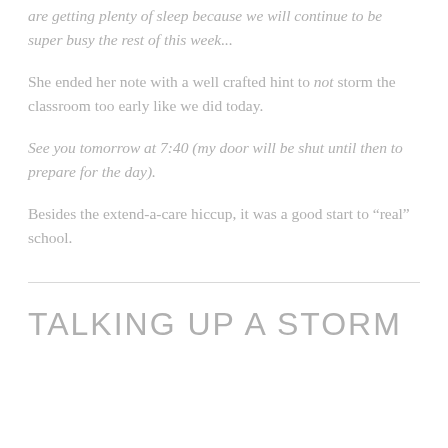are getting plenty of sleep because we will continue to be super busy the rest of this week...
She ended her note with a well crafted hint to not storm the classroom too early like we did today.
See you tomorrow at 7:40 (my door will be shut until then to prepare for the day).
Besides the extend-a-care hiccup, it was a good start to “real” school.
TALKING UP A STORM